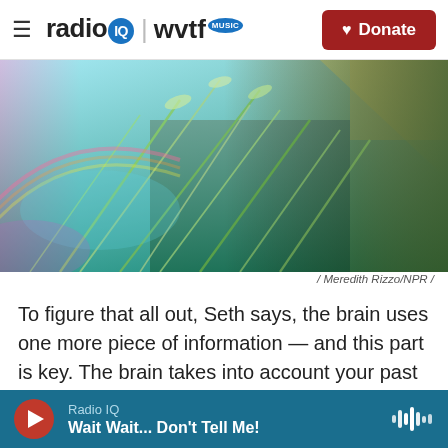radio IQ | wvtf MUSIC — Donate
[Figure (photo): Close-up photo of grass and foliage with colorful light effects — teal, rainbow, and sunlight]
/ Meredith Rizzo/NPR /
To figure that all out, Seth says, the brain uses one more piece of information — and this part is key. The brain takes into account your past experiences, your memories.
Let's return back to that encounter with the grizzly bear. If your past experiences with bears came…
Radio IQ — Wait Wait... Don't Tell Me!